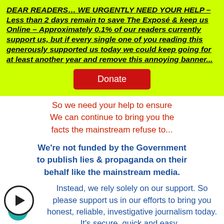DEAR READERS… WE URGENTLY NEED YOUR HELP – Less than 2 days remain to save The Exposé & keep us Online – Approximately 0.1% of our readers currently support us, but if every single one of you reading this generously supported us today we could keep going for at least another year and remove this annoying banner...
[Figure (other): Red Donate button]
So we need your help to ensure We can continue to bring you the facts the mainstream refuse to...
We're not funded by the Government to publish lies & propaganda on their behalf like the mainstream media.
Instead, we rely solely on our support. So please support us in our efforts to bring you honest, reliable, investigative journalism today. It's secure, quick and easy...
Just choose your preferred method